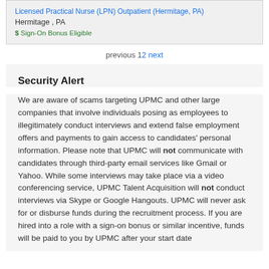Licensed Practical Nurse (LPN) Outpatient (Hermitage, PA) Hermitage , PA $ Sign-On Bonus Eligible
previous 1 2 next
Security Alert
We are aware of scams targeting UPMC and other large companies that involve individuals posing as employees to illegitimately conduct interviews and extend false employment offers and payments to gain access to candidates' personal information. Please note that UPMC will not communicate with candidates through third-party email services like Gmail or Yahoo. While some interviews may take place via a video conferencing service, UPMC Talent Acquisition will not conduct interviews via Skype or Google Hangouts. UPMC will never ask for or disburse funds during the recruitment process. If you are hired into a role with a sign-on bonus or similar incentive, funds will be paid to you by UPMC after your start date